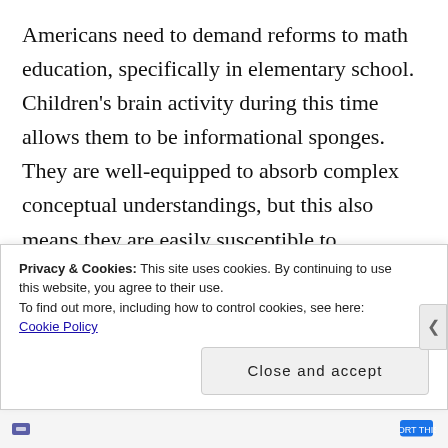Americans need to demand reforms to math education, specifically in elementary school. Children's brain activity during this time allows them to be informational sponges. They are well-equipped to absorb complex conceptual understandings, but this also means they are easily susceptible to contracting negative mindsets about mathematics. When elementary math teachers can foster positive mathematical mindsets in their students, we will see classrooms filled with children actively working together and problem solving in pursuit of a common goal. Dear Math. Here is why I love you. With math, there
Privacy & Cookies: This site uses cookies. By continuing to use this website, you agree to their use.
To find out more, including how to control cookies, see here: Cookie Policy
Close and accept